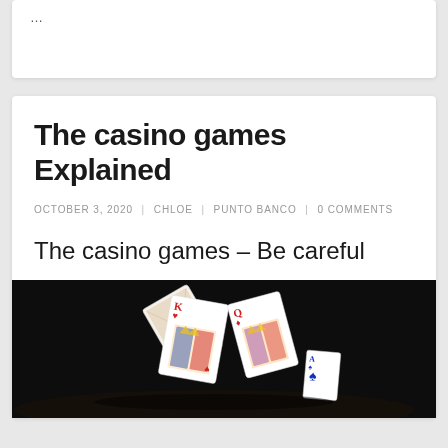…
The casino games Explained
OCTOBER 3, 2020 | CHLOE | PUNTO BANCO | 0 COMMENTS
The casino games – Be careful
[Figure (photo): Playing cards stacked and falling on a dark background]